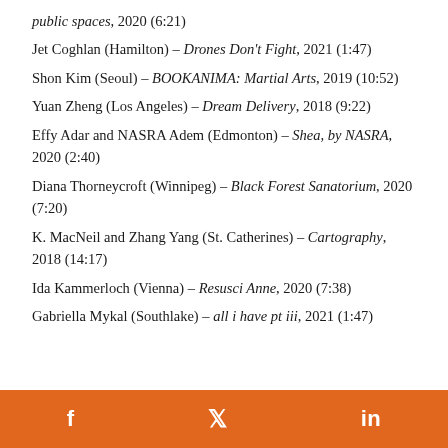public spaces, 2020 (6:21)
Jet Coghlan (Hamilton) – Drones Don't Fight, 2021 (1:47)
Shon Kim (Seoul) – BOOKANIMA: Martial Arts, 2019 (10:52)
Yuan Zheng (Los Angeles) – Dream Delivery, 2018 (9:22)
Effy Adar and NASRA Adem (Edmonton) – Shea, by NASRA, 2020 (2:40)
Diana Thorneycroft (Winnipeg) – Black Forest Sanatorium, 2020 (7:20)
K. MacNeil and Zhang Yang (St. Catherines) – Cartography, 2018 (14:17)
Ida Kammerloch (Vienna) – Resusci Anne, 2020 (7:38)
Gabriella Mykal (Southlake) – all i have pt iii, 2021 (1:47)
f   Twitter   in